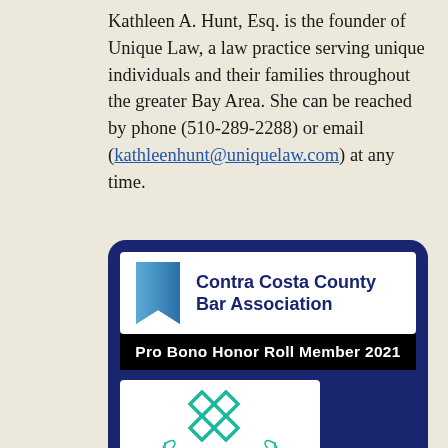Kathleen A. Hunt, Esq. is the founder of Unique Law, a law practice serving unique individuals and their families throughout the greater Bay Area. She can be reached by phone (510-289-2288) or email (kathleenhunt@uniquelaw.com) at any time.
[Figure (logo): Contra Costa County Bar Association Pro Bono Honor Roll Member 2021 badge, with a blue bookmark icon and white text on dark navy background. Below it is an Expertise.com Best Probate badge with teal diamond logo and laurel leaves.]